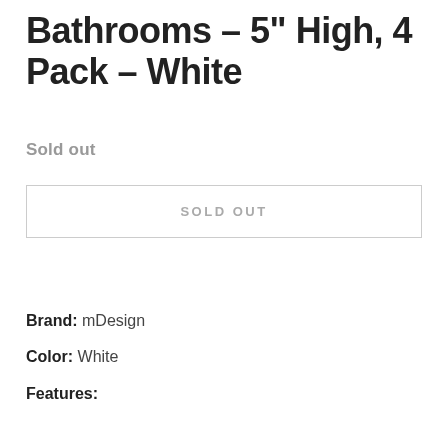Bathrooms – 5" High, 4 Pack – White
Sold out
SOLD OUT
Brand: mDesign
Color: White
Features: